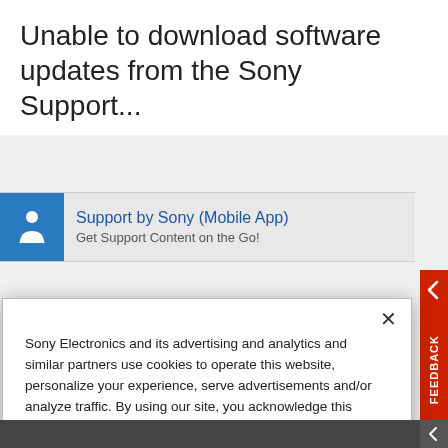Unable to download software updates from the Sony Support...
[Figure (screenshot): Sony Support mobile app banner showing icon and text 'Support by Sony (Mobile App)' and 'Get Support Content on the Go!']
Sony Electronics and its advertising and analytics and similar partners use cookies to operate this website, personalize your experience, serve advertisements and/or analyze traffic. By using our site, you acknowledge this notice and agree to the use of cookies on our site and to our Privacy Policy.
Manage Cookies